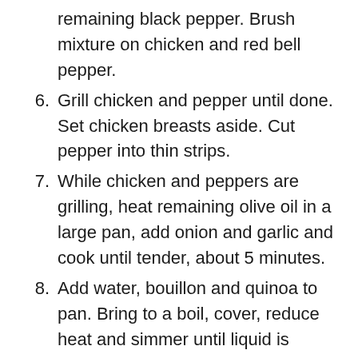remaining black pepper. Brush mixture on chicken and red bell pepper.
6. Grill chicken and pepper until done. Set chicken breasts aside. Cut pepper into thin strips.
7. While chicken and peppers are grilling, heat remaining olive oil in a large pan, add onion and garlic and cook until tender, about 5 minutes.
8. Add water, bouillon and quinoa to pan. Bring to a boil, cover, reduce heat and simmer until liquid is absorbed and quinoa is cooked (about 15-20 minutes).
9. Place quinoa pilaf in a large bowl and add chicken, red peppers and avocado. Toss